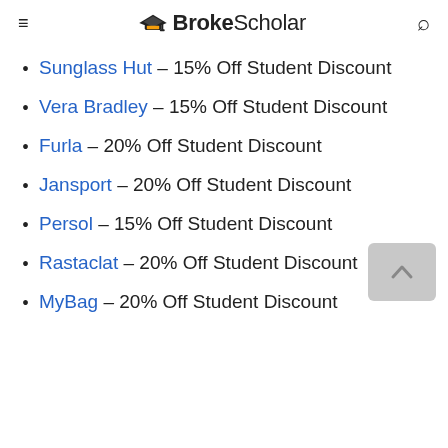BrokeScholar
Sunglass Hut – 15% Off Student Discount
Vera Bradley – 15% Off Student Discount
Furla – 20% Off Student Discount
Jansport – 20% Off Student Discount
Persol – 15% Off Student Discount
Rastaclat – 20% Off Student Discount
MyBag – 20% Off Student Discount